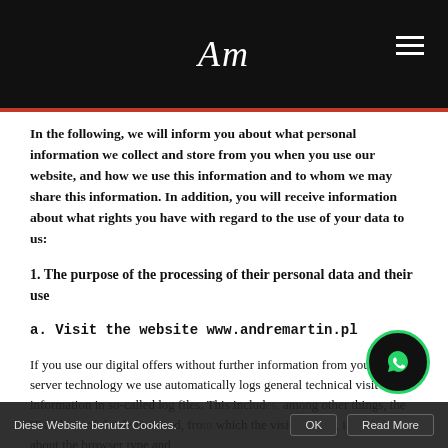Am
In the following, we will inform you about what personal information we collect and store from you when you use our website, and how we use this information and to whom we may share this information. In addition, you will receive information about what rights you have with regard to the use of your data to us:
1. The purpose of the processing of their personal data and their use
a. Visit the website www.andremartin.pl
If you use our digital offers without further information from you, the web server technology we use automatically logs general technical visit information in so-called log files. This includes, among other things, the IP address of the device used, from which the visit is made, information about the browser type and
Diese Website benutzt Cookies. OK Read More